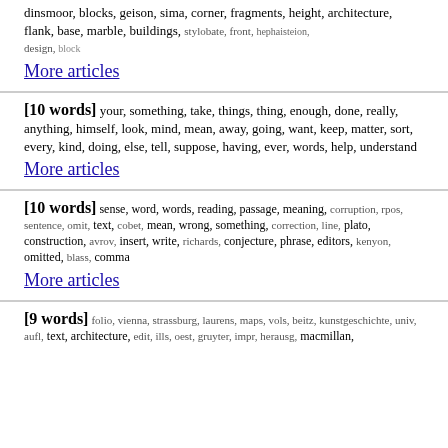dinsmoor, blocks, geison, sima, corner, fragments, height, architecture, flank, base, marble, buildings, stylobate, front, hephaisteion, design, block
More articles
[10 words] your, something, take, things, thing, enough, done, really, anything, himself, look, mind, mean, away, going, want, keep, matter, sort, every, kind, doing, else, tell, suppose, having, ever, words, help, understand
More articles
[10 words] sense, word, words, reading, passage, meaning, corruption, rpos, sentence, omit, text, cobet, mean, wrong, something, correction, line, plato, construction, avrov, insert, write, richards, conjecture, phrase, editors, kenyon, omitted, blass, comma
More articles
[9 words] folio, vienna, strassburg, laurens, maps, vols, beitz, kunstgeschichte, univ, aufl, text, architecture, edit, ills, oest, gruyter, impr, herausg, macmillan,